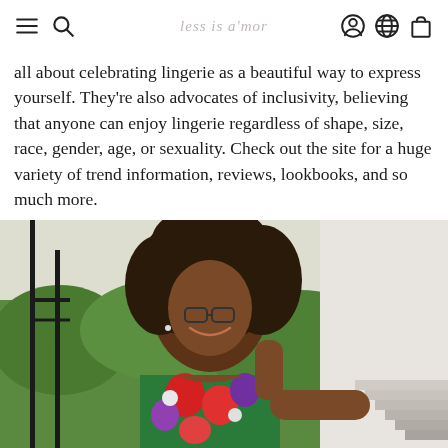less is a'mor
all about celebrating lingerie as a beautiful way to express yourself. They're also advocates of inclusivity, believing that anyone can enjoy lingerie regardless of shape, size, race, gender, age, or sexuality. Check out the site for a huge variety of trend information, reviews, lookbooks, and so much more.
[Figure (photo): A smiling young Black woman with natural afro hair and glasses, wearing a colorful floral sleeveless dress, posing outdoors near a railing and stairs with greenery in the background.]